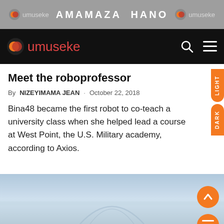umuseke   AMAMAZA HANO   umuseke
[Figure (logo): Umuseke navigation bar with logo, search icon, and menu icon on black background]
Meet the roboprofessor
By NIZEYIMAMA JEAN · October 22, 2018
Bina48 became the first robot to co-teach a university class when she helped lead a course at West Point, the U.S. Military academy, according to Axios.
[Figure (photo): Aerial or landscape photo showing a hazy blue sky and distant structure, partially visible at the bottom of the page]